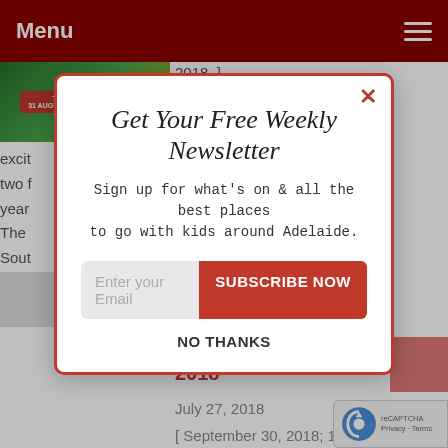Menu
[Figure (screenshot): Website screenshot with navigation bar showing 'Menu' text and hamburger icon on dark red background. Background shows event listing content for Royal Adelaide Show 2018 with event image and text.]
Get Your Free Weekly Newsletter
Sign up for what's on & all the best places to go with kids around Adelaide.
Enter your Email | SUBSCRIBE NOW
NO THANKS
Street Market | 30 Sep 2018
July 27, 2018
[ September 30, 2018; 10:00